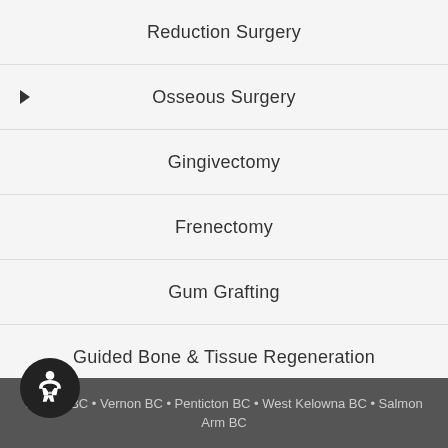Reduction Surgery
Osseous Surgery
Gingivectomy
Frenectomy
Gum Grafting
Guided Bone & Tissue Regeneration
Bone Morphogenic Protein
Dental Implant Options
Cosmetic Periodontal Surgery
Oral Cancer Exam
Kelowna BC • Vernon BC • Penticton BC • West Kelowna BC • Salmon Arm BC